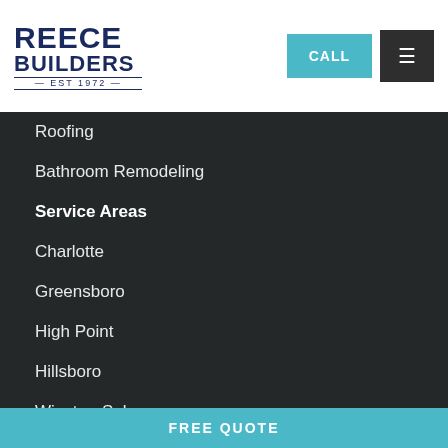[Figure (logo): Reece Builders logo, EST 1972, navy blue text on white background]
Roofing
Bathroom Remodeling
Service Areas
Charlotte
Greensboro
High Point
Hillsboro
Winston-Salem
View All
FREE QUOTE